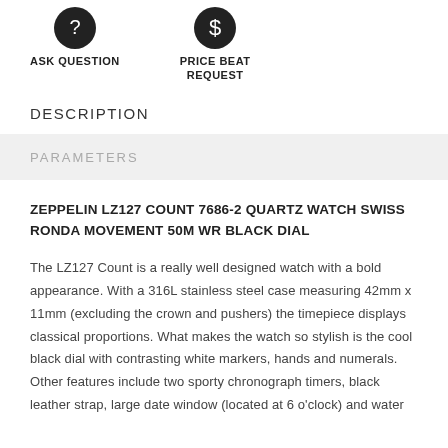[Figure (other): Two circular icon buttons: 'ASK QUESTION' and 'PRICE BEAT REQUEST' with dark circular icons above each label]
DESCRIPTION
PARAMETERS
ZEPPELIN LZ127 COUNT 7686-2 QUARTZ WATCH SWISS RONDA MOVEMENT 50M WR BLACK DIAL
The LZ127 Count is a really well designed watch with a bold appearance. With a 316L stainless steel case measuring 42mm x 11mm (excluding the crown and pushers) the timepiece displays classical proportions. What makes the watch so stylish is the cool black dial with contrasting white markers, hands and numerals. Other features include two sporty chronograph timers, black leather strap, large date window (located at 6 o'clock) and water